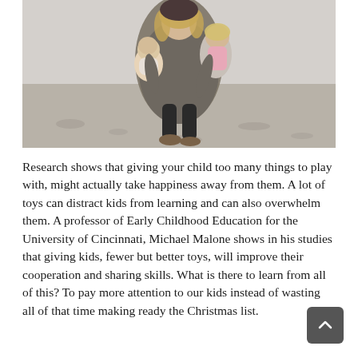[Figure (photo): A woman carrying two young children on a sandy beach. She is wearing a grey cardigan and the children are dressed in light colors. The scene is outdoors with pale sandy ground.]
Research shows that giving your child too many things to play with, might actually take happiness away from them. A lot of toys can distract kids from learning and can also overwhelm them. A professor of Early Childhood Education for the University of Cincinnati, Michael Malone shows in his studies that giving kids, fewer but better toys, will improve their cooperation and sharing skills. What is there to learn from all of this? To pay more attention to our kids instead of wasting all of that time making ready the Christmas list.